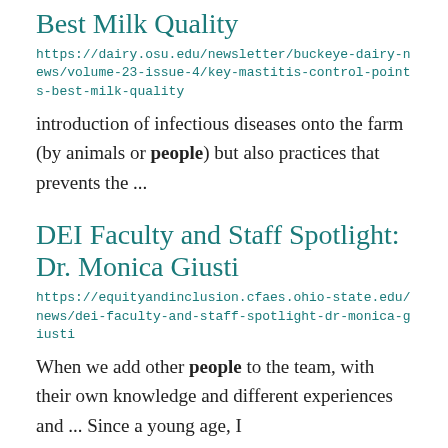Best Milk Quality
https://dairy.osu.edu/newsletter/buckeye-dairy-news/volume-23-issue-4/key-mastitis-control-points-best-milk-quality
introduction of infectious diseases onto the farm (by animals or people) but also practices that prevents the ...
DEI Faculty and Staff Spotlight: Dr. Monica Giusti
https://equityandinclusion.cfaes.ohio-state.edu/news/dei-faculty-and-staff-spotlight-dr-monica-giusti
When we add other people to the team, with their own knowledge and different experiences and ... Since a young age, I